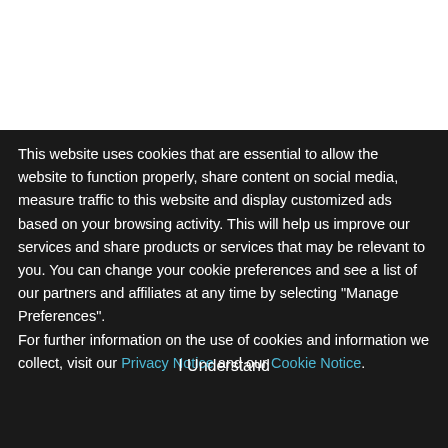Florida
Additional Locations: Remote, Alabama; Remote, Alaska; Remote, Arizona; Remote, Arkansas; Remote, California;
This website uses cookies that are essential to allow the website to function properly, share content on social media, measure traffic to this website and display customized ads based on your browsing activity. This will help us improve our services and share products or services that may be relevant to you. You can change your cookie preferences and see a list of our partners and affiliates at any time by selecting "Manage Preferences".
For further information on the use of cookies and information we collect, visit our Privacy Notice and our Cookie Notice.
I Understand
Manage Cookie Preferences